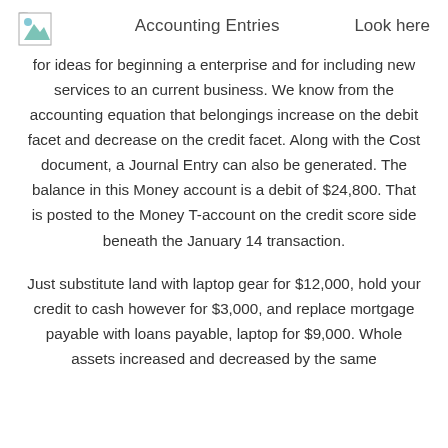Accounting Entries    Look here
for ideas for beginning a enterprise and for including new services to an current business. We know from the accounting equation that belongings increase on the debit facet and decrease on the credit facet. Along with the Cost document, a Journal Entry can also be generated. The balance in this Money account is a debit of $24,800. That is posted to the Money T-account on the credit score side beneath the January 14 transaction.
Just substitute land with laptop gear for $12,000, hold your credit to cash however for $3,000, and replace mortgage payable with loans payable, laptop for $9,000. Whole assets increased and decreased by the same